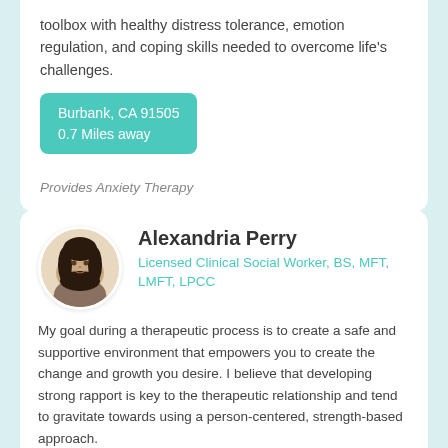toolbox with healthy distress tolerance, emotion regulation, and coping skills needed to overcome life's challenges.
Burbank, CA 91505
0.7 Miles away
Provides Anxiety Therapy
[Figure (photo): Circular profile photo of Alexandria Perry, a woman with long dark hair]
Alexandria Perry
Licensed Clinical Social Worker, BS, MFT, LMFT, LPCC
My goal during a therapeutic process is to create a safe and supportive environment that empowers you to create the change and growth you desire. I believe that developing strong rapport is key to the therapeutic relationship and tend to gravitate towards using a person-centered, strength-based approach.